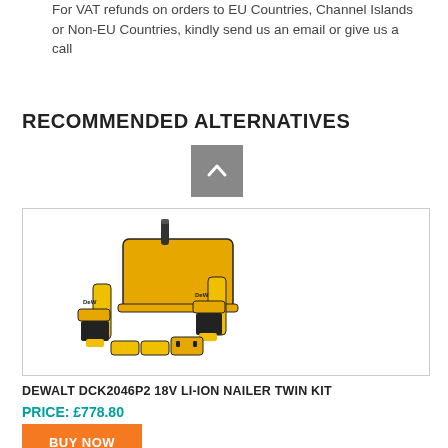For VAT refunds on orders to EU Countries, Channel Islands or Non-EU Countries, kindly send us an email or give us a call
RECOMMENDED ALTERNATIVES
[Figure (other): Scroll up arrow button (grey square with white chevron up icon)]
[Figure (photo): DEWALT DCK2046P2 18V Li-Ion Nailer Twin Kit product photo showing two nail guns, batteries, charger, and yellow tool bag]
DEWALT DCK2046P2 18V LI-ION NAILER TWIN KIT
PRICE: £778.80
BUY NOW
[Figure (photo): Second product photo partially visible at bottom of page — appears to be an orange/black nailer tool]